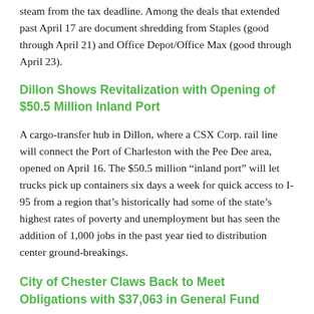steam from the tax deadline. Among the deals that extended past April 17 are document shredding from Staples (good through April 21) and Office Depot/Office Max (good through April 23).
Dillon Shows Revitalization with Opening of $50.5 Million Inland Port
A cargo-transfer hub in Dillon, where a CSX Corp. rail line will connect the Port of Charleston with the Pee Dee area, opened on April 16. The $50.5 million “inland port” will let trucks pick up containers six days a week for quick access to I-95 from a region that’s historically had some of the state’s highest rates of poverty and unemployment but has seen the addition of 1,000 jobs in the past year tied to distribution center ground-breakings.
City of Chester Claws Back to Meet Obligations with $37,063 in General Fund
After two years without a finance director and falling